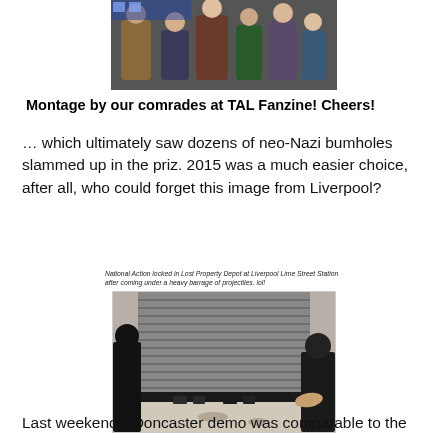[Figure (photo): Photo showing people on a street, appears to show a confrontation scene with police in background]
Montage by our comrades at TAL Fanzine! Cheers!
… which ultimately saw dozens of neo-Nazi bumholes slammed up in the priz. 2015 was a much easier choice, after all, who could forget this image from Liverpool?
[Figure (photo): Photo of people behind a metal roller shutter door. Caption reads: National Action locked in Lost Property Depot at Liverpool Lime Street Station after coming under a heavy barrage of projectiles. lol!]
Last weekend's Doncaster demo was comparable to the